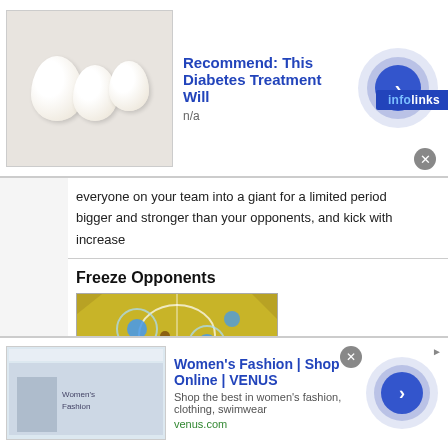[Figure (screenshot): Advertisement banner: eggs image on left, 'Recommend: This Diabetes Treatment Will' title in blue bold, 'n/a' subtitle, arrow button circle on right, infolinks badge]
everyone on your team into a giant for a limited period bigger and stronger than your opponents, and kick with increase
Freeze Opponents
[Figure (screenshot): Game screenshot showing yellow court/field view from above with player tokens and ice freeze effect circles]
Screenshot Stop the other team dead in its tracks and head to th of your opponents in a block of ice. If they have the yooyu at the to steal it from them. To grab the yooyu, steal it from the oppone The rarest power-up.
[Figure (screenshot): Advertisement banner: Women's Fashion | Shop Online | VENUS, Shop the best in women's fashion, clothing, swimwear, venus.com]